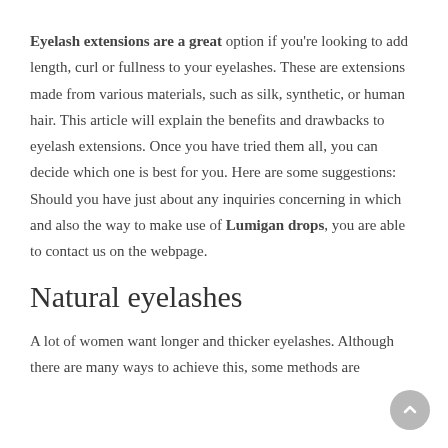Eyelash extensions are a great option if you're looking to add length, curl or fullness to your eyelashes. These are extensions made from various materials, such as silk, synthetic, or human hair. This article will explain the benefits and drawbacks to eyelash extensions. Once you have tried them all, you can decide which one is best for you. Here are some suggestions: Should you have just about any inquiries concerning in which and also the way to make use of Lumigan drops, you are able to contact us on the webpage.
Natural eyelashes
A lot of women want longer and thicker eyelashes. Although there are many ways to achieve this, some methods are